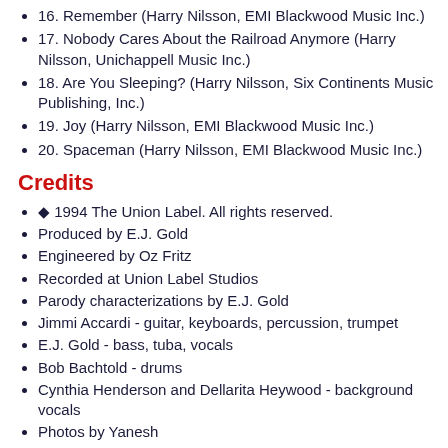16. Remember (Harry Nilsson, EMI Blackwood Music Inc.)
17. Nobody Cares About the Railroad Anymore (Harry Nilsson, Unichappell Music Inc.)
18. Are You Sleeping? (Harry Nilsson, Six Continents Music Publishing, Inc.)
19. Joy (Harry Nilsson, EMI Blackwood Music Inc.)
20. Spaceman (Harry Nilsson, EMI Blackwood Music Inc.)
Credits
◆ 1994 The Union Label. All rights reserved.
Produced by E.J. Gold
Engineered by Oz Fritz
Recorded at Union Label Studios
Parody characterizations by E.J. Gold
Jimmi Accardi - guitar, keyboards, percussion, trumpet
E.J. Gold - bass, tuba, vocals
Bob Bachtold - drums
Cynthia Henderson and Dellarita Heywood - background vocals
Photos by Yanesh